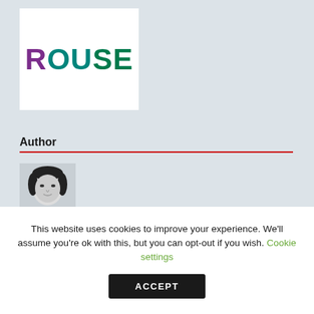[Figure (logo): Rouse company logo with multicolored letters R-O-U-S-E, purple R, teal O and U, green S and E on white background]
Author
[Figure (photo): Black and white headshot photo of a woman with dark hair]
This website uses cookies to improve your experience. We'll assume you're ok with this, but you can opt-out if you wish. Cookie settings
ACCEPT